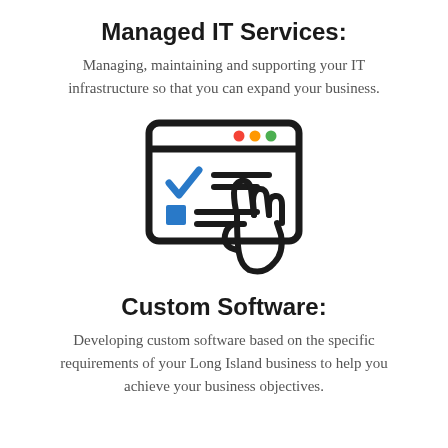Managed IT Services:
Managing, maintaining and supporting your IT infrastructure so that you can expand your business.
[Figure (illustration): Icon of a browser/application window with traffic light buttons (green, yellow/orange, red) in the top-right corner, showing a checklist with a blue checkmark and a blue square checkbox, with a hand/finger pointing at the list.]
Custom Software:
Developing custom software based on the specific requirements of your Long Island business to help you achieve your business objectives.